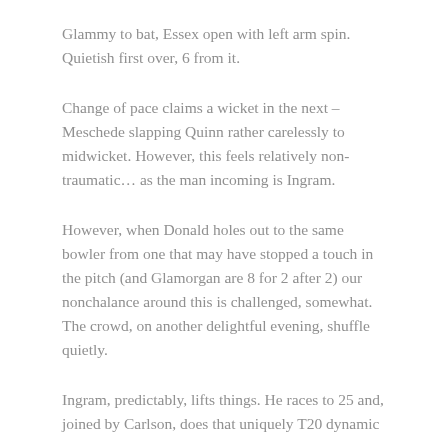Glammy to bat, Essex open with left arm spin. Quietish first over, 6 from it.
Change of pace claims a wicket in the next – Meschede slapping Quinn rather carelessly to midwicket. However, this feels relatively non-traumatic… as the man incoming is Ingram.
However, when Donald holes out to the same bowler from one that may have stopped a touch in the pitch (and Glamorgan are 8 for 2 after 2) our nonchalance around this is challenged, somewhat. The crowd, on another delightful evening, shuffle quietly.
Ingram, predictably, lifts things. He races to 25 and, joined by Carlson, does that uniquely T20 dynamic